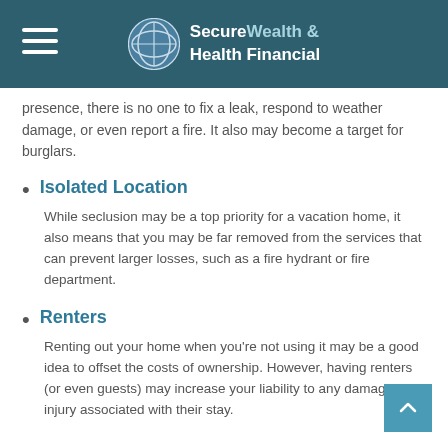SecureWealth & Health Financial
presence, there is no one to fix a leak, respond to weather damage, or even report a fire. It also may become a target for burglars.
Isolated Location
While seclusion may be a top priority for a vacation home, it also means that you may be far removed from the services that can prevent larger losses, such as a fire hydrant or fire department.
Renters
Renting out your home when you’re not using it may be a good idea to offset the costs of ownership. However, having renters (or even guests) may increase your liability to any damage or injury associated with their stay.